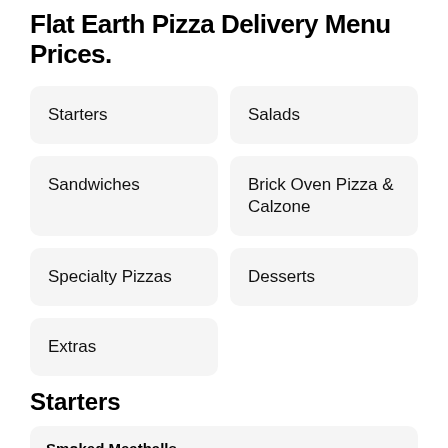Flat Earth Pizza Delivery Menu Prices.
Starters
Salads
Sandwiches
Brick Oven Pizza & Calzone
Specialty Pizzas
Desserts
Extras
Starters
Smoked Meatballs
Our house-made beef and pork meatballs, slow-smoked